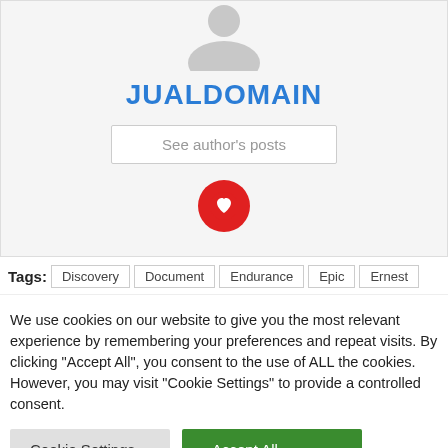[Figure (illustration): Generic user avatar silhouette in gray]
JUALDOMAIN
See author's posts
[Figure (logo): Red circular social media icon with heart/bookmark symbol]
Tags: Discovery | Document | Endurance | Epic | Ernest
We use cookies on our website to give you the most relevant experience by remembering your preferences and repeat visits. By clicking "Accept All", you consent to the use of ALL the cookies. However, you may visit "Cookie Settings" to provide a controlled consent.
Cookie Settings
Accept All